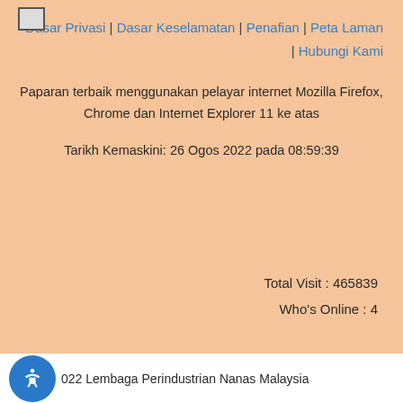Dasar Privasi | Dasar Keselamatan | Penafian | Peta Laman | Hubungi Kami
Paparan terbaik menggunakan pelayar internet Mozilla Firefox, Chrome dan Internet Explorer 11 ke atas
Tarikh Kemaskini: 26 Ogos 2022 pada 08:59:39
Total Visit : 465839
Who's Online : 4
022 Lembaga Perindustrian Nanas Malaysia